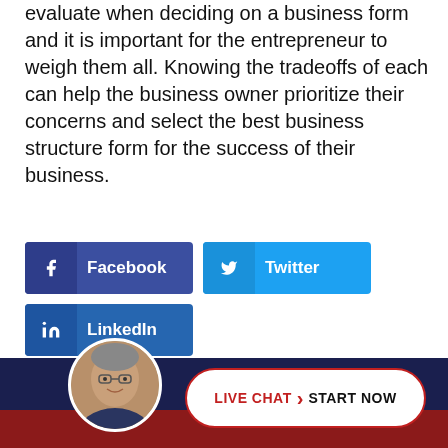evaluate when deciding on a business form and it is important for the entrepreneur to weigh them all. Knowing the tradeoffs of each can help the business owner prioritize their concerns and select the best business structure form for the success of their business.
[Figure (infographic): Social media share buttons: Facebook (dark blue), Twitter (light blue), LinkedIn (blue)]
[Figure (infographic): Bottom bar with a man's headshot avatar, a Live Chat button with chevron and START NOW text on white rounded rectangle over dark navy/red background]